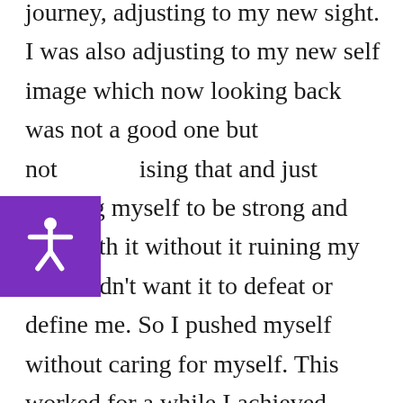journey, adjusting to my new sight. I was also adjusting to my new self image which now looking back was not a good one but not recognising that and just pushing myself to be strong and deal with it without it ruining my life I didn't want it to defeat or define me. So I pushed myself without caring for myself. This worked for a while I achieved many wonderful things despite my difficulties. I had an amazing boy he is 8 years old now and has been my rock. Knowing I had to be there for him and to show him that you can achieve no matter what is what helped drive